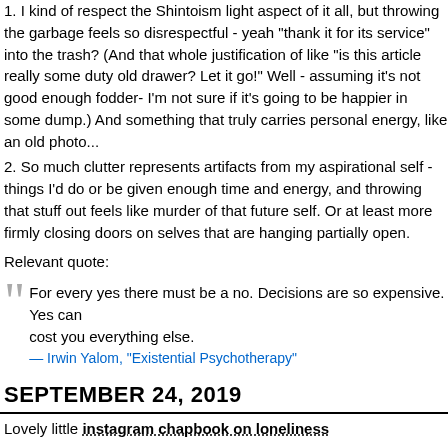1. I kind of respect the Shintoism light aspect of it all, but throwing into the garbage feels so disrespectful - yeah "thank it for its service" into the trash? (And that whole justification of like "is this article really some duty old drawer? Let it go!" Well - assuming it's not good enough fodder- I'm not sure if it's going to be happier in some dump.) And something that truly carries personal energy, like an old photo...
2. So much clutter represents artifacts from my aspirational self - things I'd do or be given enough time and energy, and throwing that stuff out feels like murder of that future self. Or at least more firmly closing doors on selves that are hanging partially open.
Relevant quote:
For every yes there must be a no. Decisions are so expensive. Yes can cost you everything else.
— Irwin Yalom, "Existential Psychotherapy"
SEPTEMBER 24, 2019
Lovely little instagram chapbook on loneliness